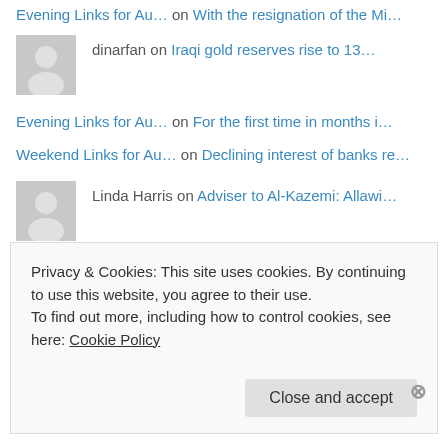Evening Links for Au… on With the resignation of the Mi…
dinarfan on Iraqi gold reserves rise to 13…
Evening Links for Au… on For the first time in months i…
Weekend Links for Au… on Declining interest of banks re…
Linda Harris on Adviser to Al-Kazemi: Allawi…
wciappetta on Iraq sponsors a new round of i…
Privacy & Cookies: This site uses cookies. By continuing to use this website, you agree to their use.
To find out more, including how to control cookies, see here: Cookie Policy
Close and accept